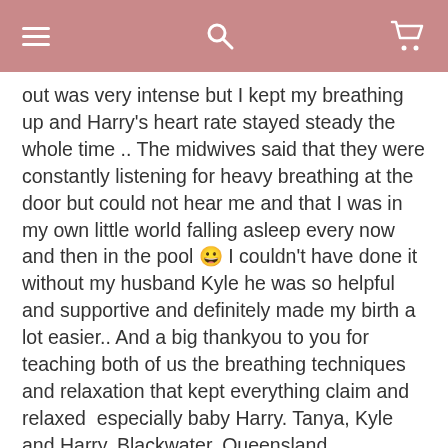Navigation bar with hamburger menu, search, and cart icons
out was very intense but I kept my breathing up and Harry's heart rate stayed steady the whole time .. The midwives said that they were constantly listening for heavy breathing at the door but could not hear me and that I was in my own little world falling asleep every now and then in the pool 😀 I couldn't have done it without my husband Kyle he was so helpful and supportive and definitely made my birth a lot easier.. And a big thankyou to you for teaching both of us the breathing techniques and relaxation that kept everything claim and relaxed  especially baby Harry. Tanya, Kyle and Harry, Blackwater, Queensland
[Figure (photo): Circular portrait photo of author Melissa Spilsted, a blonde woman in a red top]
Author: Melissa Spilsted
Melissa Spilsted is an author, clinical